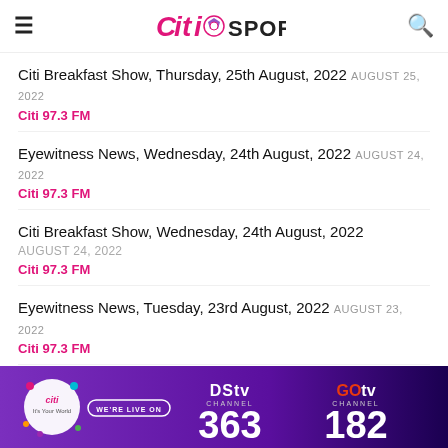Citi Sports
Citi Breakfast Show, Thursday, 25th August, 2022 AUGUST 25, 2022
Citi 97.3 FM
Eyewitness News, Wednesday, 24th August, 2022 AUGUST 24, 2022
Citi 97.3 FM
Citi Breakfast Show, Wednesday, 24th August, 2022 AUGUST 24, 2022
Citi 97.3 FM
Eyewitness News, Tuesday, 23rd August, 2022 AUGUST 23, 2022
Citi 97.3 FM
[Figure (infographic): DStv Channel 363 and GOtv Channel 182 advertisement banner with Citi logo and WE'RE LIVE ON text]